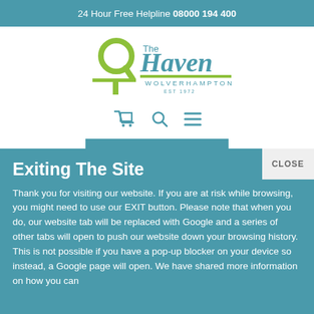24 Hour Free Helpline 08000 194 400
[Figure (logo): The Haven Wolverhampton logo with green circular magnifying glass icon and teal text. EST 1972 beneath.]
[Figure (infographic): Navigation icons: shopping cart, search, and hamburger menu in teal]
DONATE
Exiting The Site
Thank you for visiting our website. If you are at risk while browsing, you might need to use our EXIT button. Please note that when you do, our website tab will be replaced with Google and a series of other tabs will open to push our website down your browsing history. This is not possible if you have a pop-up blocker on your device so instead, a Google page will open. We have shared more information on how you can